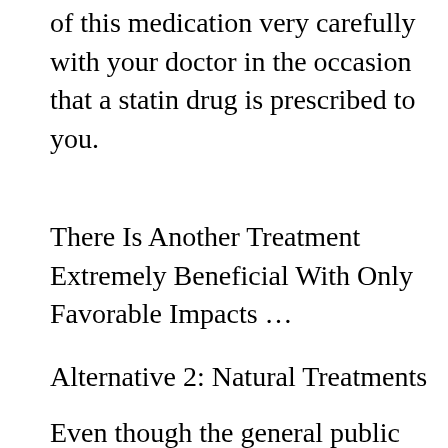of this medication very carefully with your doctor in the occasion that a statin drug is prescribed to you.
There Is Another Treatment Extremely Beneficial With Only Favorable Impacts …
Alternative 2: Natural Treatments
Even though the general public hears very